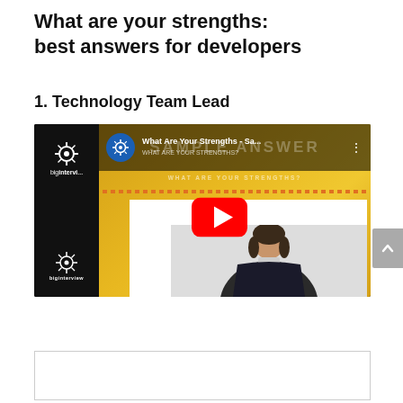What are your strengths: best answers for developers
1. Technology Team Lead
[Figure (screenshot): YouTube video thumbnail showing a biginterview sample answer video titled 'What Are Your Strengths - Sa...' with a woman in business attire, a golden/orange background with 'SAMPLE ANSWER' and 'WHAT ARE YOUR STRENGTHS?' text, and a red YouTube play button in the center.]